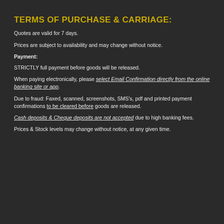TERMS OF PURCHASE & CARRIAGE:
Quotes are valid for 7 days.
Prices are subject to availability and may change without notice.
Payment:
STRICTLY full payment before goods will be released.
When paying electronically, please select Email Confirmation directly from the online banking site or app.
Due to fraud: Faxed, scanned, screenshots, SMS's, pdf and printed payment confirmations to be cleared before goods are released.
Cash deposits & Cheque deposits are not accepted due to high banking fees.
Prices & Stock levels may change without notice, at any given time.